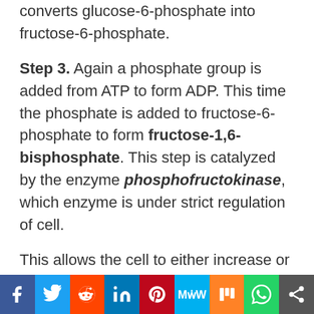converts glucose-6-phosphate into fructose-6-phosphate.
Step 3. Again a phosphate group is added from ATP to form ADP. This time the phosphate is added to fructose-6-phosphate to form fructose-1,6-bisphosphate. This step is catalyzed by the enzyme phosphofructokinase, which enzyme is under strict regulation of cell.
This allows the cell to either increase or slow down the glycolysis pathway
[Figure (infographic): Social media share bar with buttons: Facebook, Twitter, Reddit, LinkedIn, Pinterest, MeWe, Mix, WhatsApp, More]